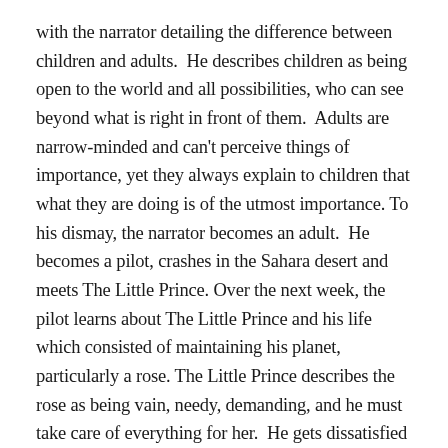with the narrator detailing the difference between children and adults. He describes children as being open to the world and all possibilities, who can see beyond what is right in front of them. Adults are narrow-minded and can't perceive things of importance, yet they always explain to children that what they are doing is of the utmost importance. To his dismay, the narrator becomes an adult. He becomes a pilot, crashes in the Sahara desert and meets The Little Prince. Over the next week, the pilot learns about The Little Prince and his life which consisted of maintaining his planet, particularly a rose. The Little Prince describes the rose as being vain, needy, demanding, and he must take care of everything for her. He gets dissatisfied with this life and starts a journey to find meaning. He travels to 6 other planets each inhabited by one adult.